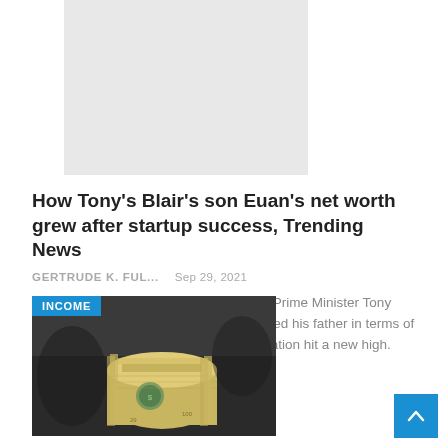[Figure (photo): Placeholder grey image box at top]
How Tony's Blair's son Euan's net worth grew after startup success, Trending News
GERTRUDE K. FUL...   Sep 29, 2021
There are reports that the former British Prime Minister Tony Blair's His eldest son, Euan, 37, surpassed his father in terms of net worth after his edtech company valuation hit a new high. Euan's edtech learning startup...
[Figure (photo): Photo of rolled US dollar bills with INCOME badge overlay]
Cheees...